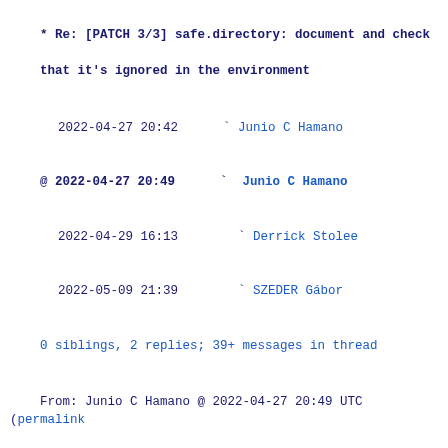* Re: [PATCH 3/3] safe.directory: document and check that it's ignored in the environment
2022-04-27 20:42   ` Junio C Hamano
@ 2022-04-27 20:49   ` Junio C Hamano
2022-04-29 16:13     ` Derrick Stolee
2022-05-09 21:39     ` SZEDER Gábor
0 siblings, 2 replies; 39+ messages in thread
From: Junio C Hamano @ 2022-04-27 20:49 UTC (permalink / raw)
To: SZEDER Gábor; +Cc: git, Derrick Stolee, Taylor Blau
Junio C Hamano <gitster@pobox.com> writes:
> If we had GIT_SAFE_DIRECTORIES that lists the safe directories (like
> $PATH does), that would have been absolutely necessary to document
> how it works, but GIT_CONFIG_* is merely an implementation detail of
> how "git -c var=val" works and I am not sure if it is even a good
> idea to hardcode how they happen to work like these tests.  The only
> thing the users should know is that GIT_CONFIG_{KEY,VALUE}_* are
> used internally by the implementation and they should not muck with
> it, no?